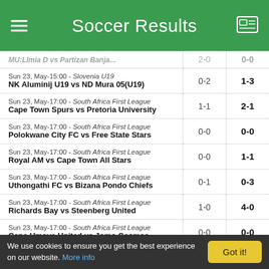Soccer Results
| Match | HT | FT |
| --- | --- | --- |
| Sun 23, May-15:00 - Slovenia U19 | NK Aluminij U19 vs ND Mura 05(U19) | 0-2 | 1-3 |
| Sun 23, May-17:00 - South Africa First League | Cape Town Spurs vs Pretoria University | 1-1 | 2-1 |
| Sun 23, May-17:00 - South Africa First League | Polokwane City FC vs Free State Stars | 0-0 | 0-0 |
| Sun 23, May-17:00 - South Africa First League | Royal AM vs Cape Town All Stars | 0-0 | 1-1 |
| Sun 23, May-17:00 - South Africa First League | Uthongathi FC vs Bizana Pondo Chiefs | 0-1 | 0-3 |
| Sun 23, May-17:00 - South Africa First League | Richards Bay vs Steenberg United | 1-0 | 4-0 |
| Sun 23, May-17:00 - South Africa First League | Cape Umoya United vs Jomo Cosmos | 0-0 | 0-0 |
| Sun 23, May-17:00 - South Africa First League | JDR Stars vs Sekhukhune United | 1-1 | 1-3 |
| Sun 23, May-17:00 - South Africa First League | Pretoria Callies vs TS Sporting | 0-0 | 0-2 |
We use cookies to ensure you get the best experience on our website. More info